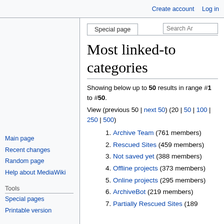Create account  Log in
Special page
Most linked-to categories
Showing below up to 50 results in range #1 to #50.
View (previous 50 | next 50) (20 | 50 | 100 | 250 | 500)
1. Archive Team (761 members)
2. Rescued Sites (459 members)
3. Not saved yet (388 members)
4. Offline projects (373 members)
5. Online projects (295 members)
6. ArchiveBot (219 members)
7. Partially Rescued Sites (189...